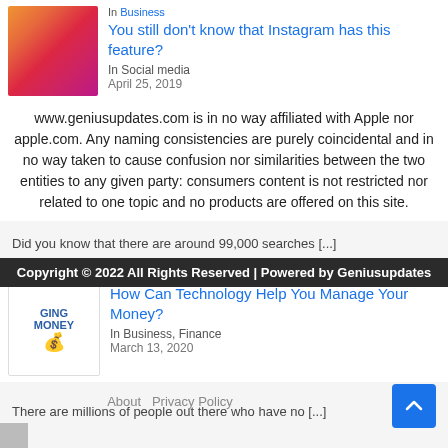[Figure (photo): Instagram-themed image showing a woman and colorful background]
In Business
You still don't know that Instagram has this feature?
In Social media
April 25, 2019
www.geniusupdates.com is in no way affiliated with Apple nor apple.com. Any naming consistencies are purely coincidental and in no way taken to cause confusion nor similarities between the two entities to any given party: consumers content is not restricted nor related to one topic and no products are offered on this site.
[Figure (photo): Dark image with SEO text/dashboard]
SEO for Small Business: 7 Tips for Getting Started
In SEO
August 8, 2022
Did you know that there are around 99,000 searches [...]
Copyright © 2022 All Rights Reserved | Powered by Geniusupdates
[Figure (logo): GING MONEY logo with coins]
How Can Technology Help You Manage Your Money?
In Business, Finance
March 13, 2020
About  Privacy Policy
There are millions of people out there who have no [...]
[Figure (photo): Small image at bottom left, partially visible]